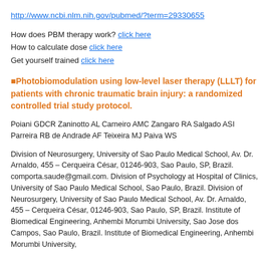http://www.ncbi.nlm.nih.gov/pubmed/?term=29330655
How does PBM therapy work? click here
How to calculate dose click here
Get yourself trained click here
🔲Photobiomodulation using low-level laser therapy (LLLT) for patients with chronic traumatic brain injury: a randomized controlled trial study protocol.
Poiani GDCR Zaninotto AL Carneiro AMC Zangaro RA Salgado ASI Parreira RB de Andrade AF Teixeira MJ Paiva WS
Division of Neurosurgery, University of Sao Paulo Medical School, Av. Dr. Arnaldo, 455 – Cerqueira César, 01246-903, Sao Paulo, SP, Brazil. comporta.saude@gmail.com. Division of Psychology at Hospital of Clinics, University of Sao Paulo Medical School, Sao Paulo, Brazil. Division of Neurosurgery, University of Sao Paulo Medical School, Av. Dr. Arnaldo, 455 – Cerqueira César, 01246-903, Sao Paulo, SP, Brazil. Institute of Biomedical Engineering, Anhembi Morumbi University, Sao Jose dos Campos, Sao Paulo, Brazil. Institute of Biomedical Engineering, Anhembi Morumbi University,